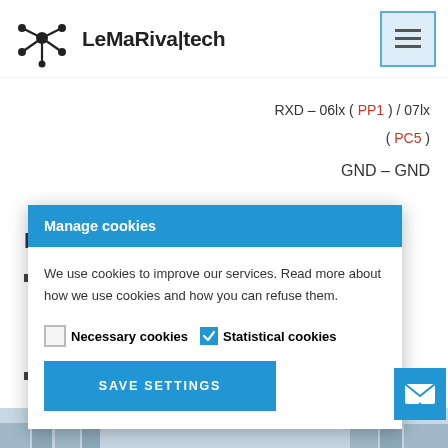[Figure (logo): LeMaRiva|tech logo with network/molecule icon and text]
RXD – 06lx ( PP1 ) / 07lx
( PC5 )
GND – GND
M
Manage cookies
We use cookies to improve our services. Read more about how we use cookies and how you can refuse them.
Necessary cookies  Statistical cookies
SAVE SETTINGS